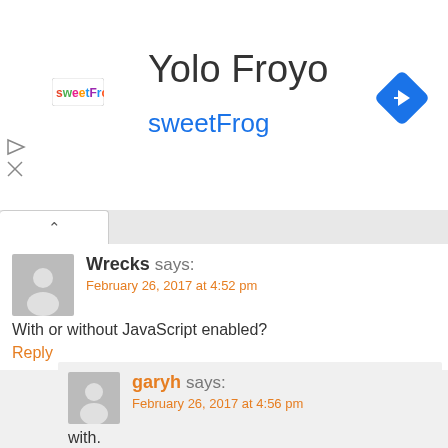[Figure (logo): sweetFrog logo with colorful text and small icon]
Yolo Froyo
sweetFrog
[Figure (illustration): Blue diamond navigation arrow icon pointing right]
Wrecks says:
February 26, 2017 at 4:52 pm
With or without JavaScript enabled?
Reply
garyh says:
February 26, 2017 at 4:56 pm
with.
Reply
Wrecks says:
February 26, 2017 at 5:07 pm
Looks like that button requires a jquery library to load, which is JavaScript. Something must be